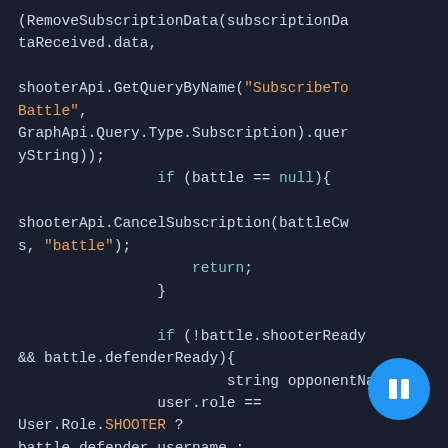[Figure (screenshot): Code editor screenshot showing C# code with dark background. Code includes RemoveSubscriptionData, shooterApi.GetQueryByName with SubscribeToBattle string, GraphApi.Query.Type.Subscription, battle null check, CancelSubscription, if battle conditions, string opponentName assignment, User.Role.SHOOTER enum references, menuManager.SetWaitingText with Found an opponent string, waitingTime = 10, user.role == User.Role.SHOOTER check, and UpdateShooterReady call partially visible at bottom.]